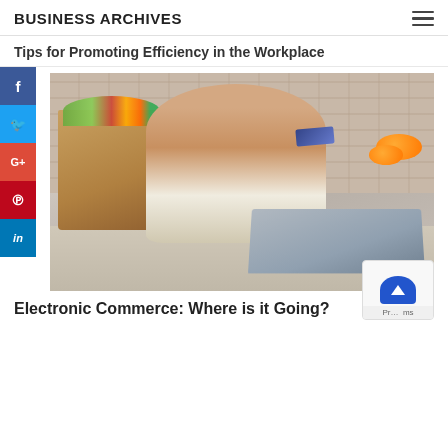BUSINESS ARCHIVES
Tips for Promoting Efficiency in the Workplace
[Figure (photo): Woman smiling and holding a credit card while using a laptop, with a grocery bag of vegetables beside her on a kitchen counter with a brick wall background. Social media share buttons (Facebook, Twitter, Google+, Pinterest, LinkedIn) are visible on the left side.]
Electronic Commerce: Where is it Going?